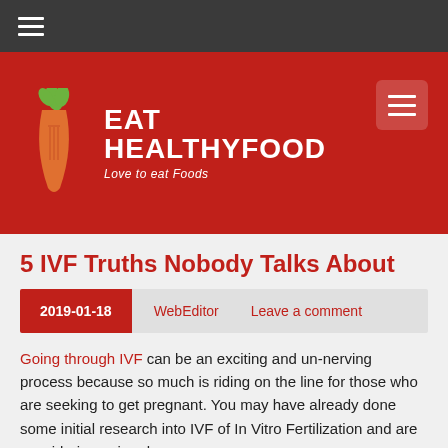≡
[Figure (logo): Eat Healthyfood website logo — carrot with fork illustration on red background, with text EAT HEALTHYFOOD Love to eat Foods]
5 IVF Truths Nobody Talks About
2019-01-18   WebEditor   Leave a comment
Going through IVF can be an exciting and un-nerving process because so much is riding on the line for those who are seeking to get pregnant. You may have already done some initial research into IVF of In Vitro Fertilization and are considering going down